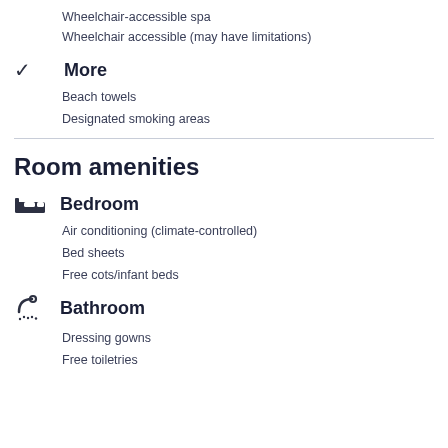Wheelchair-accessible spa
Wheelchair accessible (may have limitations)
More
Beach towels
Designated smoking areas
Room amenities
Bedroom
Air conditioning (climate-controlled)
Bed sheets
Free cots/infant beds
Bathroom
Dressing gowns
Free toiletries